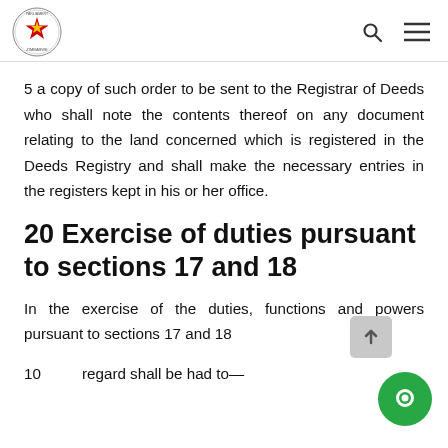Parliament of Zimbabwe logo with search and menu icons
5 a copy of such order to be sent to the Registrar of Deeds who shall note the contents thereof on any document relating to the land concerned which is registered in the Deeds Registry and shall make the necessary entries in the registers kept in his or her office.
20 Exercise of duties pursuant to sections 17 and 18
In the exercise of the duties, functions and powers pursuant to sections 17 and 18
10      regard shall be had to—